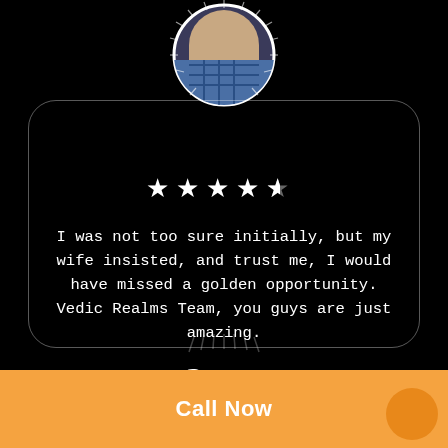[Figure (photo): Circular profile photo of a man in a plaid shirt with decorative sunburst rays around it, partially cropped at top]
[Figure (infographic): 4.5 star rating shown as white stars]
I was not too sure initially, but my wife insisted, and trust me, I would have missed a golden opportunity. Vedic Realms Team, you guys are just amazing.
George
House Wife
Call Now